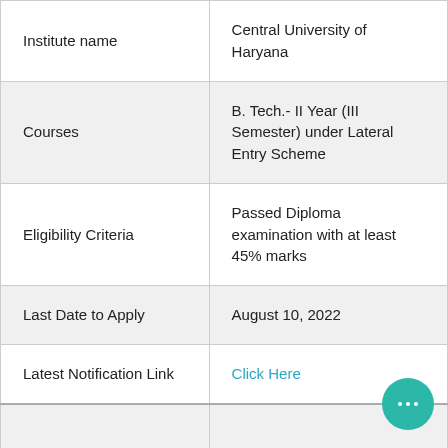|  |  |
| --- | --- |
| Institute name | Central University of Haryana |
| Courses | B. Tech.- II Year (III Semester) under Lateral Entry Scheme |
| Eligibility Criteria | Passed Diploma examination with at least 45% marks |
| Last Date to Apply | August 10, 2022 |
| Latest Notification Link | Click Here |